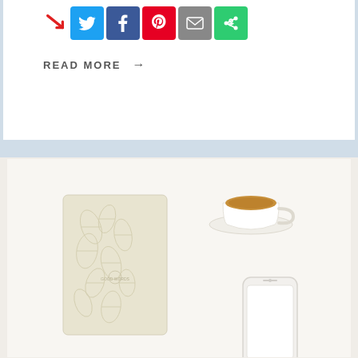[Figure (other): Social share buttons: Twitter (blue), Facebook (dark blue), Pinterest (red), Email (gray), More (green), with a red arrow pointing to them]
READ MORE →
[Figure (photo): Flat lay photo on white surface showing a cream/ivory journal with leaf pattern embossed cover, a white ceramic mug of tea or coffee, and a white smartphone]